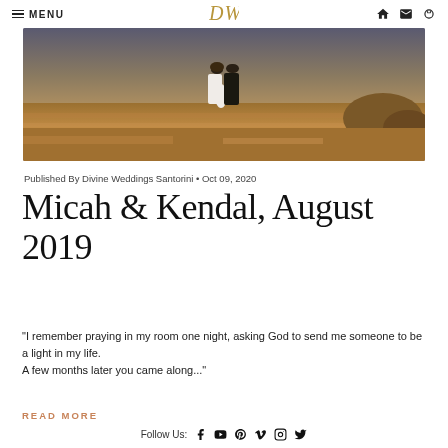MENU | [logo: DW] | [icons: home, mail, ring]
[Figure (photo): A couple standing on a rocky hillside with golden dry grass, dramatic sky in background]
Published By Divine Weddings Santorini • Oct 09, 2020
Micah & Kendal, August 2019
"I remember praying in my room one night, asking God to send me someone to be a light in my life.
A few months later you came along..."
READ MORE
Follow Us: [Facebook] [YouTube] [Pinterest] [Vimeo] [Instagram] [Twitter]